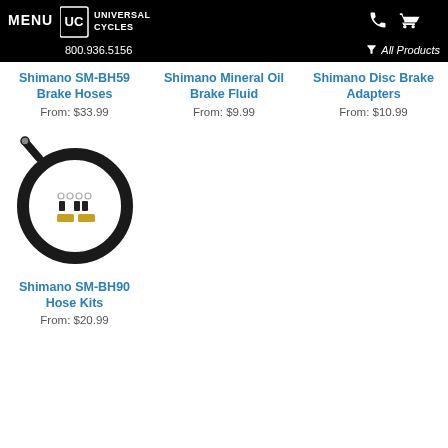MENU | Universal Cycles | 800.936.5156 | All Products
Shimano SM-BH59 Brake Hoses
From: $33.99
Shimano Mineral Oil Brake Fluid
From: $9.99
Shimano Disc Brake Adapters
From: $10.99
[Figure (photo): Shimano SM-BH90 Hose Kit coiled black brake hose with connector components]
Shimano SM-BH90 Hose Kits
From: $20.99